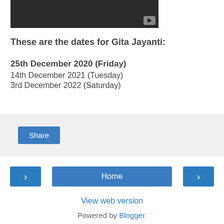[Figure (screenshot): Dark video thumbnail with a play button icon in the bottom-right corner]
These are the dates for Gita Jayanti:
25th December 2020 (Friday)
14th December 2021 (Tuesday)
3rd December 2022 (Saturday)
[Figure (screenshot): Share button area with light grey background]
< Home > View web version Powered by Blogger.